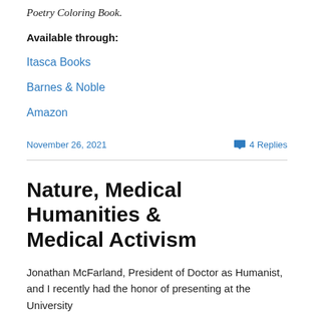Poetry Coloring Book.
Available through:
Itasca Books
Barnes & Noble
Amazon
November 26, 2021
4 Replies
Nature, Medical Humanities & Medical Activism
Jonathan McFarland, President of Doctor as Humanist, and I recently had the honor of presenting at the University